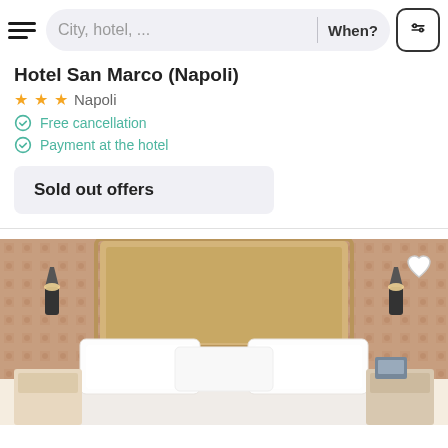City, hotel, ...  When?
Hotel San Marco (Napoli)
★★★  Napoli
Free cancellation
Payment at the hotel
Sold out offers
[Figure (photo): Hotel room with a double bed, white pillows and linens, padded headboard, decorative patterned wallpaper, wall sconces, and bedside tables. A heart icon is visible in the top right corner.]